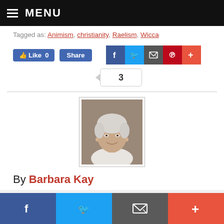MENU
Tagged as: Animism, christianity, Raelism, Wicca
[Figure (screenshot): Social sharing buttons: Facebook Like 0, Share, and icons for Facebook, Twitter, Email, Pinterest, Plus. Below is a comment counter showing 3.]
[Figure (photo): Author portrait photo of Barbara Kay, an older woman with short white hair, smiling, wearing a white jacket.]
By Barbara Kay
[Figure (screenshot): Bottom social sharing bar with Facebook, Twitter, Email, and Plus icons.]